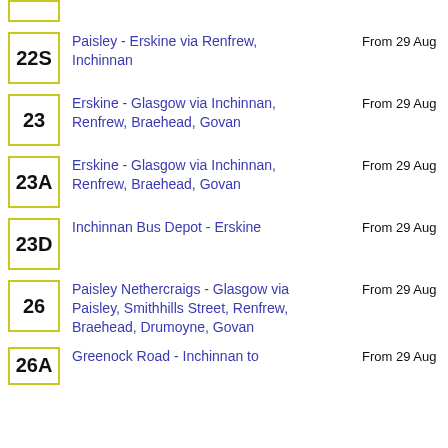22S - Paisley - Erskine via Renfrew, Inchinnan - From 29 Aug
23 - Erskine - Glasgow via Inchinnan, Renfrew, Braehead, Govan - From 29 Aug
23A - Erskine - Glasgow via Inchinnan, Renfrew, Braehead, Govan - From 29 Aug
23D - Inchinnan Bus Depot - Erskine - From 29 Aug
26 - Paisley Nethercraigs - Glasgow via Paisley, Smithhills Street, Renfrew, Braehead, Drumoyne, Govan - From 29 Aug
26A - Greenock Road - Inchinnan to ... - From 29 Aug